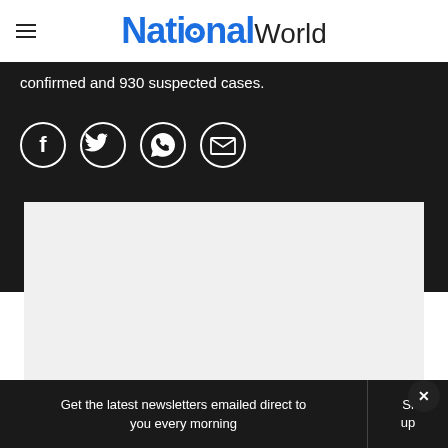NationalWorld
confirmed and 930 suspected cases.
[Figure (infographic): Social sharing icons: Facebook, Twitter, WhatsApp, Email]
[Figure (other): Advertisement placeholder (light grey box)]
Get the latest newsletters emailed direct to you every morning  Sign up